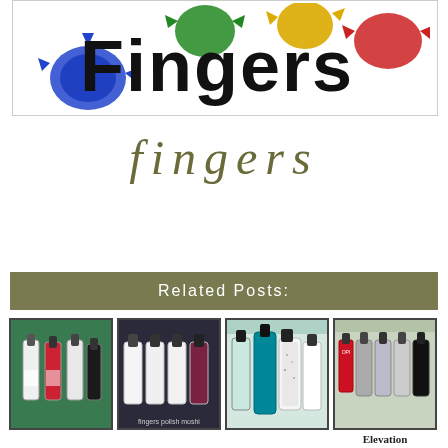[Figure (logo): Fingers logo with colorful paint splatter background and bold black text reading 'Fingers']
fingers
Related Posts:
[Figure (photo): Nail polish bottles on green background]
[Figure (photo): Nail polish bottles on dark background with text 'fingers polish moshi']
[Figure (photo): Nail polish bottles including teal and glitter]
[Figure (photo): Nail polish bottles with OPI label]
Elevation